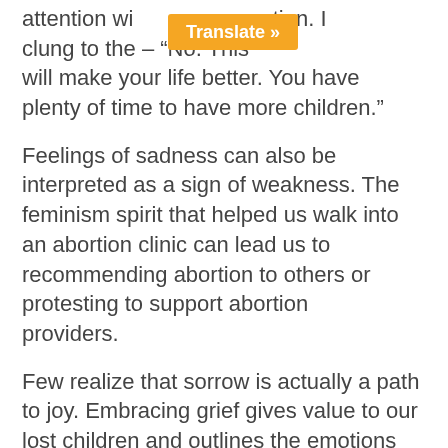attention with [Translate »] question. I clung to the [masked response] – "No. This will make your life better. You have plenty of time to have more children."
Feelings of sadness can also be interpreted as a sign of weakness. The feminism spirit that helped us walk into an abortion clinic can lead us to recommending abortion to others or protesting to support abortion providers.
Few realize that sorrow is actually a path to joy. Embracing grief gives value to our lost children and outlines the emotions that need to be processed.
Here are four levels of sadness that can hit post-abortive hearts along their journey through life: